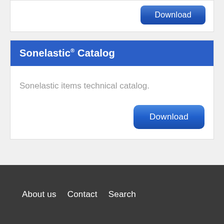[Figure (screenshot): Download button (blue rounded rectangle) at top right of a card section]
Sonelastic® Catalog
Sonelastic items technical catalog.
[Figure (screenshot): Download button (blue rounded rectangle) at bottom right of catalog card]
About us   Contact   Search